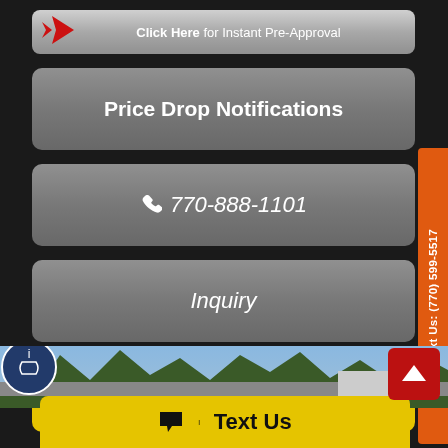[Figure (screenshot): Mobile car dealership webpage with multiple call-to-action buttons: 'Click Here for Instant Pre-Approval' with red arrow, 'Price Drop Notifications', phone number '770-888-1101', 'Inquiry', 'Text Us' (yellow button), orange sidebar with '(770) 599-5517 Text Us:', photo of dealership exterior with trees, scroll-to-top button, and bottom 'Text Us' yellow bar.]